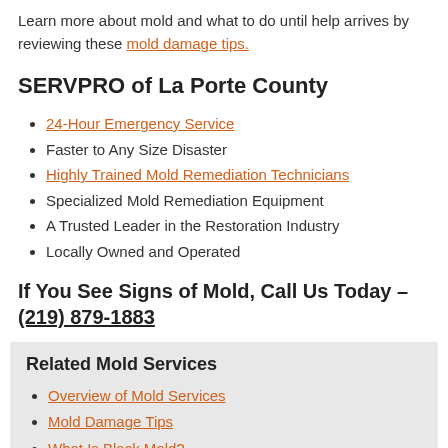Learn more about mold and what to do until help arrives by reviewing these mold damage tips.
SERVPRO of La Porte County
24-Hour Emergency Service
Faster to Any Size Disaster
Highly Trained Mold Remediation Technicians
Specialized Mold Remediation Equipment
A Trusted Leader in the Restoration Industry
Locally Owned and Operated
If You See Signs of Mold, Call Us Today – (219) 879-1883
Related Mold Services
Overview of Mold Services
Mold Damage Tips
What Is Black Mold?
Mold "Removal" vs Remediation
Caring For Your Belongings
Mold Restoration Process